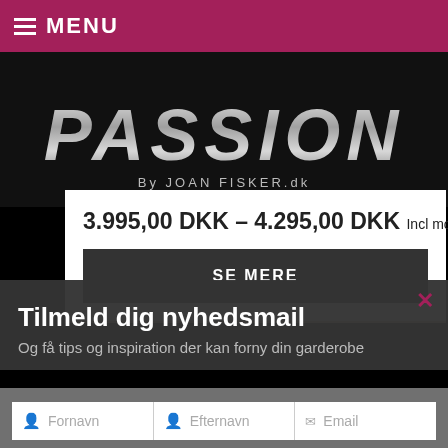MENU
[Figure (logo): PASSION by JOAN FISKER.dk logo in metallic silver text on black background]
3.995,00 DKK – 4.295,00 DKK Incl moms
SE MERE
[Figure (photo): Partial product image (jewelry or accessory) on beige background]
Tilmeld dig nyhedsmail
Og få tips og inspiration der kan forny din garderobe
Fornavn  Efternavn  Email
Tilmeld